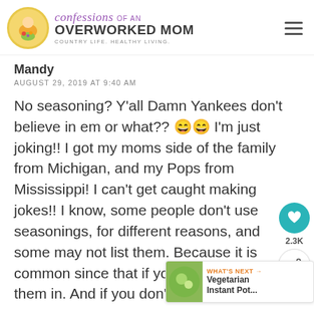confessions OF AN OVERWORKED MOM — COUNTRY LIFE. HEALTHY LIVING.
Mandy
AUGUST 29, 2019 AT 9:40 AM
No seasoning? Y’all Damn Yankees don’t believe in em or what?? 😄😄 I’m just joking!! I got my moms side of the family from Michigan, and my Pops from Mississippi! I can’t get caught making jokes!! I know, some people don’t use seasonings, for different reasons, and some may not list them. Because it is common since that if you use them , toss them in. And if you don’t..... well then